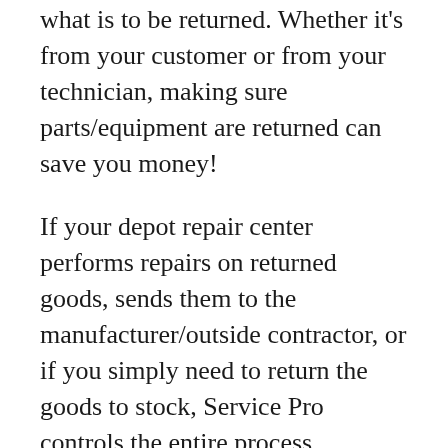what is to be returned. Whether it's from your customer or from your technician, making sure parts/equipment are returned can save you money!
If your depot repair center performs repairs on returned goods, sends them to the manufacturer/outside contractor, or if you simply need to return the goods to stock, Service Pro controls the entire process, including billing or crediting your customer while tracking repair times and parts used.
Service Pro creates, expedites, and tracks RMAs in a flexible and highly configurable fashion that accommodates most every operation imaginable. Whether RMAs are pre-authorized or just come in the door, the system will track the RMA, expedite its